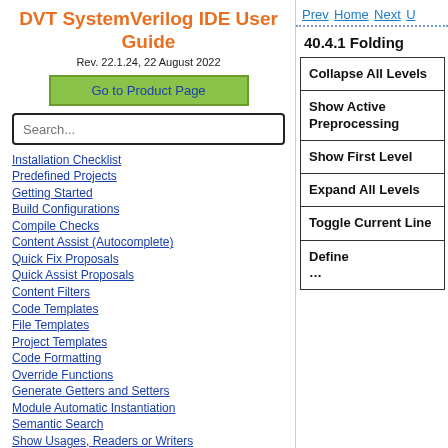DVT SystemVerilog IDE User Guide
Rev. 22.1.24, 22 August 2022
Go to Product Page
Search...
Installation Checklist
Predefined Projects
Getting Started
Build Configurations
Compile Checks
Content Assist (Autocomplete)
Quick Fix Proposals
Quick Assist Proposals
Content Filters
Code Templates
File Templates
Project Templates
Code Formatting
Override Functions
Generate Getters and Setters
Module Automatic Instantiation
Semantic Search
Show Usages, Readers or Writers
Prev  Home  Next  U
40.4.1 Folding
| Collapse All Levels |
| Show Active Preprocessing |
| Show First Level |
| Expand All Levels |
| Toggle Current Line |
| Define ... |